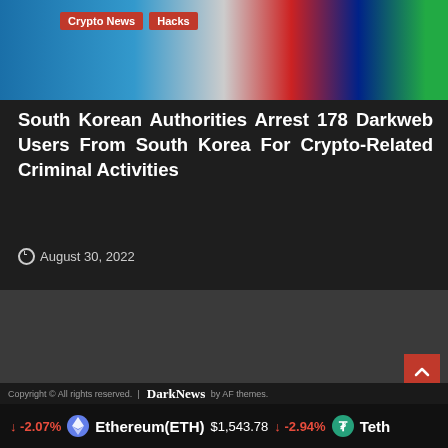[Figure (photo): South Korean flag partially visible, with red badge labels 'Crypto News' and 'Hacks' overlaid on the image]
South Korean Authorities Arrest 178 Darkweb Users From South Korea For Crypto-Related Criminal Activities
August 30, 2022
Kraken  OrbitGTM  Fxoro  KuCoin  Huobi  Bitfinex  PrimeXBT  CTmatador  DXCBIT  PrimeHolders  CMC Markets  XCGIN  Virtual Payout  Gamma Capitals  Towards Soure  CoinsMarkets  ArgoTrade  Global Solution  CTProz  Alfabtc  JP Crypto  PrestigeCoins
Copyright © All rights reserved. | DarkNews by AF themes.
-2.07%  Ethereum(ETH)  $1,543.78  -2.94%  Teth